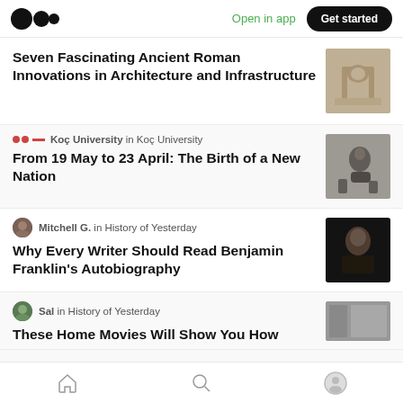Medium logo | Open in app | Get started
Seven Fascinating Ancient Roman Innovations in Architecture and Infrastructure
Koç University in Koç University
From 19 May to 23 April: The Birth of a New Nation
Mitchell G. in History of Yesterday
Why Every Writer Should Read Benjamin Franklin's Autobiography
Sal in History of Yesterday
These Home Movies Will Show You How
Home | Search | Profile